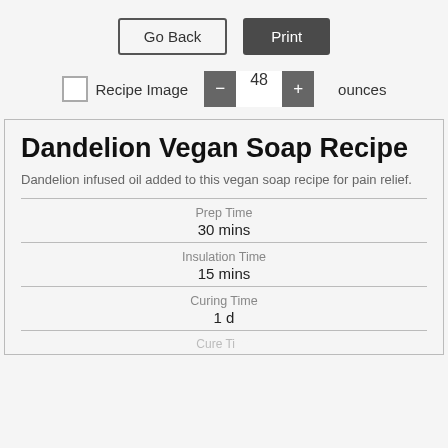Go Back | Print
Recipe Image  −  48  +  ounces
Dandelion Vegan Soap Recipe
Dandelion infused oil added to this vegan soap recipe for pain relief.
Prep Time
30 mins
Insulation Time
15 mins
Curing Time
1 d